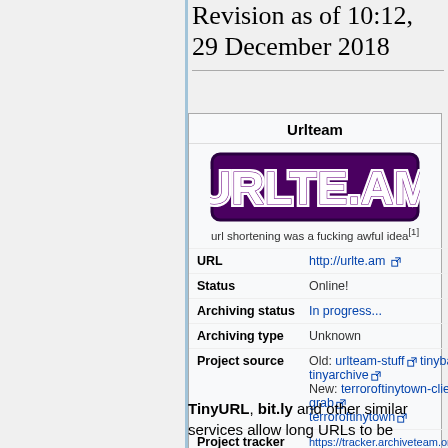Revision as of 10:12, 29 December 2018
| Field | Value |
| --- | --- |
| URL | http://urlte.am |
| Status | Online! |
| Archiving status | In progress... |
| Archiving type | Unknown |
| Project source | Old: urlteam-stuff  tinyback  tinyarchive  New: terroroftinytown-client-grab  terroroftinytown |
| Project tracker | https://tracker.archiveteam.org:1338/ |
| IRC channel | #urlteam (on hackint) |
TinyURL, bit.ly and other similar services allow long URLs to be